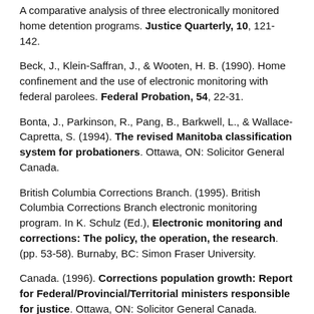A comparative analysis of three electronically monitored home detention programs. Justice Quarterly, 10, 121-142.
Beck, J., Klein-Saffran, J., & Wooten, H. B. (1990). Home confinement and the use of electronic monitoring with federal parolees. Federal Probation, 54, 22-31.
Bonta, J., Parkinson, R., Pang, B., Barkwell, L., & Wallace-Capretta, S. (1994). The revised Manitoba classification system for probationers. Ottawa, ON: Solicitor General Canada.
British Columbia Corrections Branch. (1995). British Columbia Corrections Branch electronic monitoring program. In K. Schulz (Ed.), Electronic monitoring and corrections: The policy, the operation, the research. (pp. 53-58). Burnaby, BC: Simon Fraser University.
Canada. (1996). Corrections population growth: Report for Federal/Provincial/Territorial ministers responsible for justice. Ottawa, ON: Solicitor General Canada.